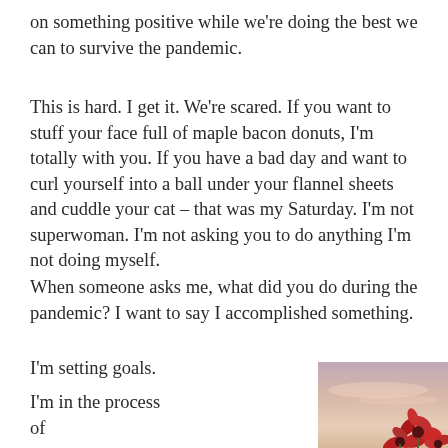on something positive while we're doing the best we can to survive the pandemic.
This is hard. I get it. We're scared. If you want to stuff your face full of maple bacon donuts, I'm totally with you. If you have a bad day and want to curl yourself into a ball under your flannel sheets and cuddle your cat – that was my Saturday. I'm not superwoman. I'm not asking you to do anything I'm not doing myself.
When someone asks me, what did you do during the pandemic? I want to say I accomplished something.
I'm setting goals.
I'm in the process of
[Figure (photo): A photo of red flower decorations against a pink and peach sunset sky background.]